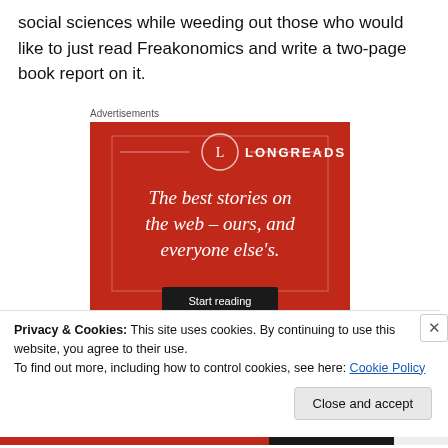social sciences while weeding out those who would like to just read Freakonomics and write a two-page book report on it.
[Figure (illustration): Longreads advertisement with red background. Shows the Longreads logo (circle with L) and text: 'The best stories on the web – ours, and everyone else's.' with a 'Start reading' button at the bottom.]
Privacy & Cookies: This site uses cookies. By continuing to use this website, you agree to their use.
To find out more, including how to control cookies, see here: Cookie Policy
Close and accept